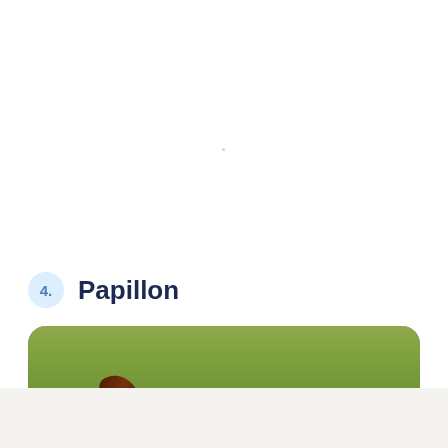4. Papillon
[Figure (photo): A Papillon dog lying on grass, white and brown coloring, fluffy chest, large ears, photographed outdoors on a lawn.]